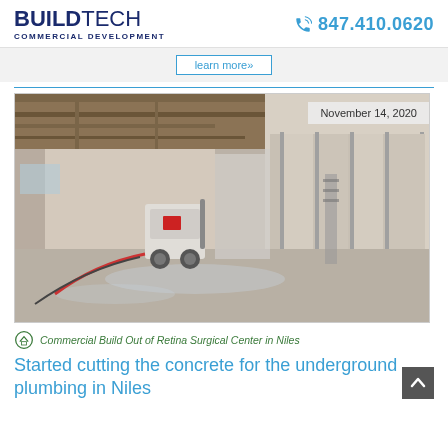BUILDTECH COMMERCIAL DEVELOPMENT | 847.410.0620
learn more»
[Figure (photo): Interior construction site photo showing concrete floor cutting equipment (floor grinder/saw) in a commercial space under renovation with metal stud framing on walls and exposed ceiling structure. Date overlay: November 14, 2020.]
Commercial Build Out of Retina Surgical Center in Niles
Started cutting the concrete for the underground plumbing in Niles